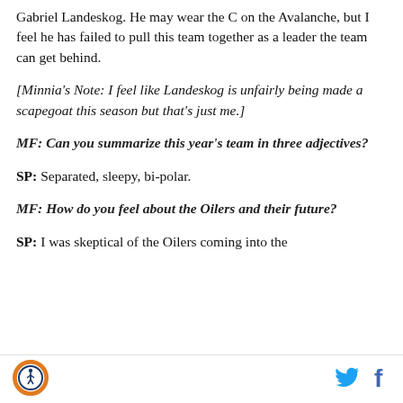Gabriel Landeskog. He may wear the C on the Avalanche, but I feel he has failed to pull this team together as a leader the team can get behind.
[Minnia's Note: I feel like Landeskog is unfairly being made a scapegoat this season but that's just me.]
MF: Can you summarize this year's team in three adjectives?
SP: Separated, sleepy, bi-polar.
MF: How do you feel about the Oilers and their future?
SP: I was skeptical of the Oilers coming into the
[Figure (logo): SB Nation sports blog circular logo with athletic figure icon in orange and blue]
[Figure (other): Twitter bird icon in cyan blue]
[Figure (other): Facebook f icon in dark blue]